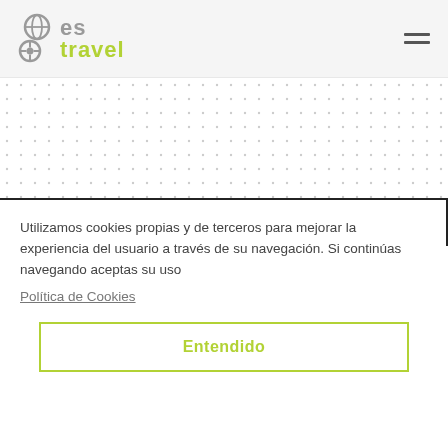[Figure (logo): Goes Travel logo with stylized globe icon in gray, 'es' in gray and 'travel' in yellow-green, hamburger menu icon top right]
[Figure (illustration): Dotted grid pattern background decoration]
Utilizamos cookies propias y de terceros para mejorar la experiencia del usuario a través de su navegación. Si continúas navegando aceptas su uso
Política de Cookies
Entendido